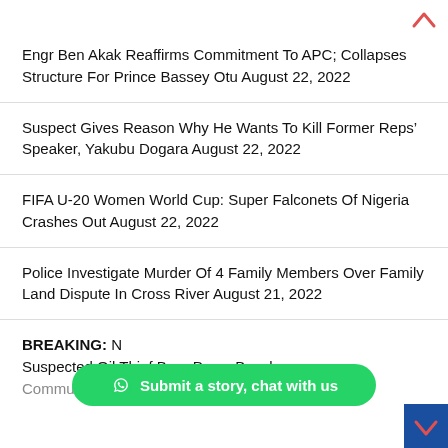Engr Ben Akak Reaffirms Commitment To APC; Collapses Structure For Prince Bassey Otu August 22, 2022
Suspect Gives Reason Why He Wants To Kill Former Reps' Speaker, Yakubu Dogara August 22, 2022
FIFA U-20 Women World Cup: Super Falconets Of Nigeria Crashes Out August 22, 2022
Police Investigate Murder Of 4 Family Members Over Family Land Dispute In Cross River August 21, 2022
BREAKING: Suspected Oil Thief Burn Down Bayelsa Community August 21, 2022